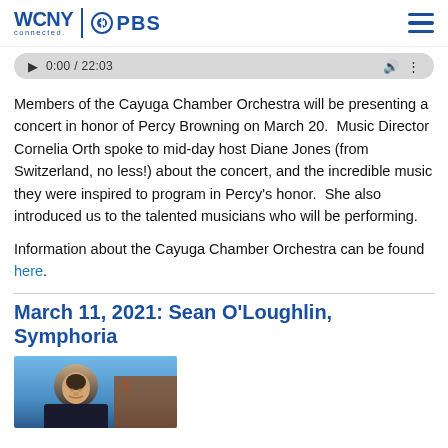WCNY connected. PBS
[Figure (screenshot): Audio player bar showing 0:00 / 22:03 with play button and volume controls]
Members of the Cayuga Chamber Orchestra will be presenting a concert in honor of Percy Browning on March 20. Music Director Cornelia Orth spoke to mid-day host Diane Jones (from Switzerland, no less!) about the concert, and the incredible music they were inspired to program in Percy's honor. She also introduced us to the talented musicians who will be performing.
Information about the Cayuga Chamber Orchestra can be found here.
March 11, 2021: Sean O'Loughlin, Symphoria
[Figure (photo): Photo of a man smiling, with blue sky and brick building in background]